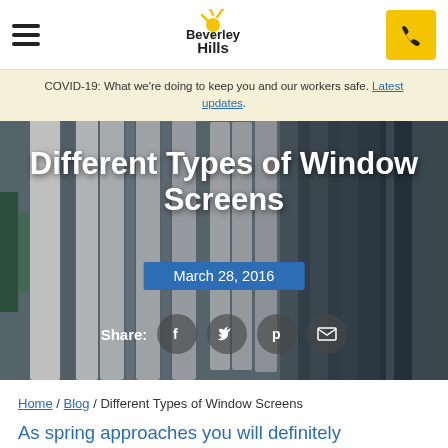Beverley Hills — Navigation header with hamburger menu and phone button
COVID-19: What we're doing to keep you and our workers safe. Latest updates.
[Figure (photo): Stack of window screens with white and grey frames shown from the side, used as hero image background]
Different Types of Window Screens
March 28, 2016
Share: [Facebook] [Twitter] [Pinterest] [Email]
Home / Blog / Different Types of Window Screens
As spring approaches you will definitely want to open your windows and let